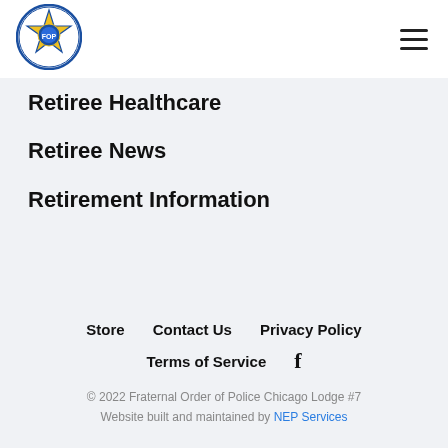[Figure (logo): Fraternal Order of Police Chicago Lodge #7 circular badge logo with blue and yellow star design]
Retiree Healthcare
Retiree News
Retirement Information
Store   Contact Us   Privacy Policy   Terms of Service   f
© 2022 Fraternal Order of Police Chicago Lodge #7
Website built and maintained by NEP Services